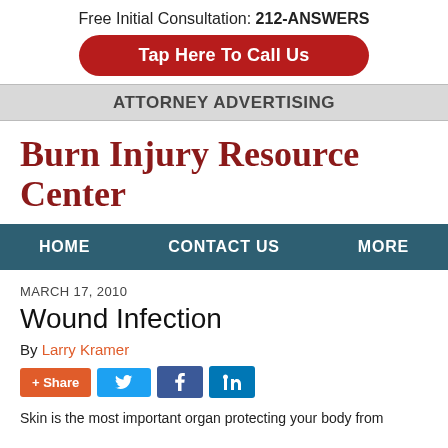Free Initial Consultation: 212-ANSWERS
Tap Here To Call Us
ATTORNEY ADVERTISING
Burn Injury Resource Center
HOME   CONTACT US   MORE
MARCH 17, 2010
Wound Infection
By Larry Kramer
+ Share
Skin is the most important organ protecting your body from